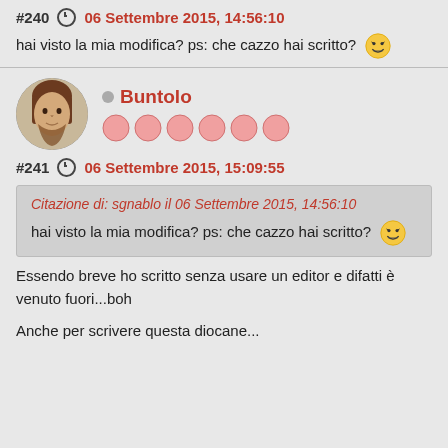#240  06 Settembre 2015, 14:56:10
hai visto la mia modifica? ps: che cazzo hai scritto?
[Figure (illustration): User avatar of Buntolo - circular portrait]
Buntolo
#241  06 Settembre 2015, 15:09:55
Citazione di: sgnablo il 06 Settembre 2015, 14:56:10
hai visto la mia modifica? ps: che cazzo hai scritto?
Essendo breve ho scritto senza usare un editor e difatti è venuto fuori...boh
Anche per scrivere questa diocane...